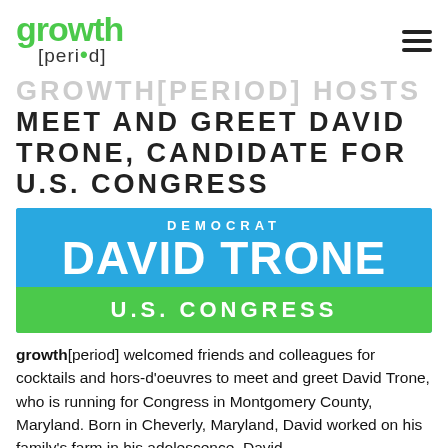growth[period]
GROWTH[PERIOD] HOSTS MEET AND GREET DAVID TRONE, CANDIDATE FOR U.S. CONGRESS
[Figure (logo): Campaign banner for Democrat David Trone, U.S. Congress. Blue background with white text reading DEMOCRAT / DAVID TRONE, green bar at bottom reading U.S. CONGRESS]
growth[period] welcomed friends and colleagues for cocktails and hors-d’oeuvres to meet and greet David Trone, who is running for Congress in Montgomery County, Maryland. Born in Cheverly, Maryland, David worked on his family’s farm in his adolescence. David